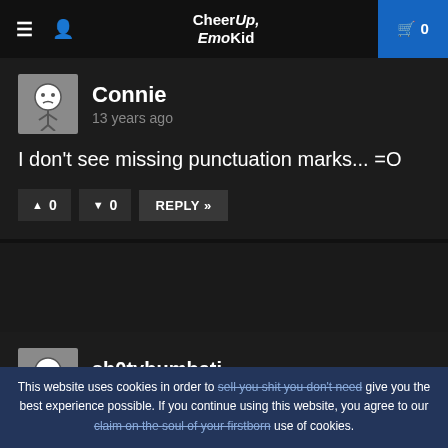CheerUp, EmoKid — Cart: 0
[Figure (illustration): Avatar icon of a simple stick figure person with round head, small eyes and slight frown, gray background]
Connie
13 years ago
I don't see missing punctuation marks... =O
▲ 0   ▼ 0   REPLY »
[Figure (illustration): Avatar icon of a simple stick figure person with round head, gray background]
sh0tybumbati
13 years ago
This website uses cookies in order to sell you shit you don't need give you the best experience possible. If you continue using this website, you agree to our claim on the soul of your firstborn use of cookies.